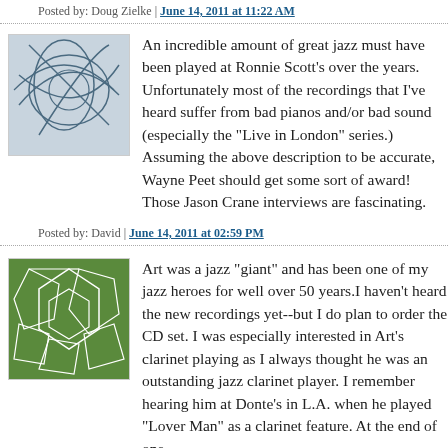Posted by: Doug Zielke | June 14, 2011 at 11:22 AM
[Figure (illustration): Avatar image with abstract blue/gray curved lines on light background]
An incredible amount of great jazz must have been played at Ronnie Scott's over the years. Unfortunately most of the recordings that I've heard suffer from bad pianos and/or bad sound (especially the "Live in London" series.) Assuming the above description to be accurate, Wayne Peet should get some sort of award! Those Jason Crane interviews are fascinating.
Posted by: David | June 14, 2011 at 02:59 PM
[Figure (illustration): Avatar image with green geometric cell/polygon pattern on green background]
Art was a jazz "giant" and has been one of my jazz heroes for well over 50 years.I haven't heard the new recordings yet--but I do plan to order the CD set. I was especially interested in Art's clarinet playing as I always thought he was an outstanding jazz clarinet player. I remember hearing him at Donte's in L.A. when he played "Lover Man" as a clarinet feature. At the end of one